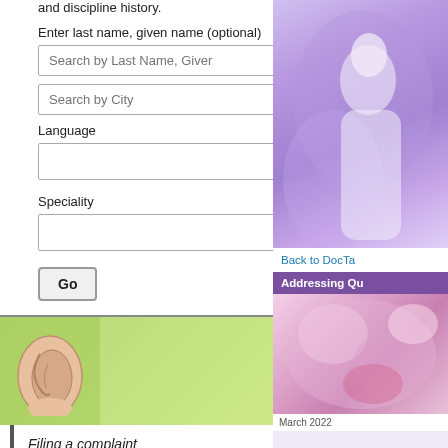and discipline history.
Enter last name, given name (optional)
Search by Last Name, Given Name (input field)
Search by City (input field)
Language
Speciality
Go (button)
[Figure (photo): Green banner with ear image and COMPLAINTS text]
Filing a complaint
Complimenting your doctor
[Figure (photo): Orange/tan banner with stethoscope image and DISCIPLINE text]
The Discipline Process
[Figure (photo): Right column - purple toned photo of doctor in white coat]
Back to DocTa
Addressing Qu
[Figure (photo): Right column bottom - pink/purple floral photo]
March 2022